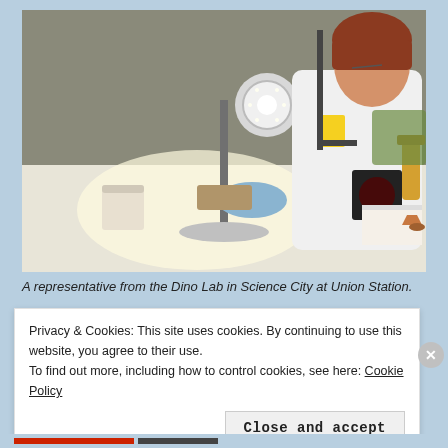[Figure (photo): A woman in a white lab coat wearing blue gloves, working at a table with a bright magnifying lamp. She is examining a fossil or specimen. On the table are cups, bottles, a magnifying loupe device, books, and dinosaur figurines. The setting appears to be a science expo or fair.]
A representative from the Dino Lab in Science City at Union Station.
Privacy & Cookies: This site uses cookies. By continuing to use this website, you agree to their use.
To find out more, including how to control cookies, see here: Cookie Policy
Close and accept